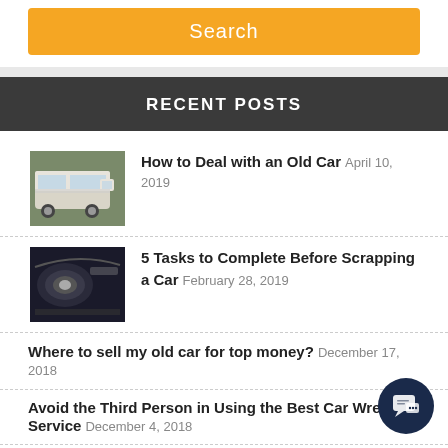[Figure (other): Orange search button]
RECENT POSTS
How to Deal with an Old Car April 10, 2019
5 Tasks to Complete Before Scrapping a Car February 28, 2019
Where to sell my old car for top money? December 17, 2018
Avoid the Third Person in Using the Best Car Wrecking Service December 4, 2018
How to get the top money for the wrecked car? December 4, 2018
CATEGORIES